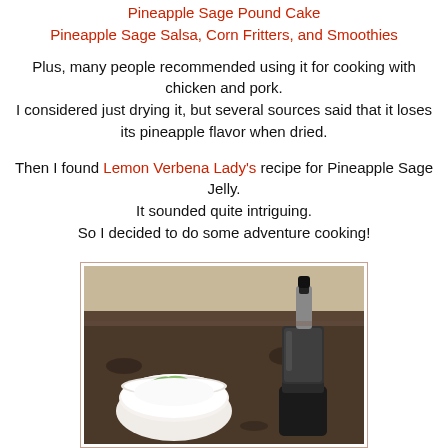Pineapple Sage Pound Cake
Pineapple Sage Salsa, Corn Fritters, and Smoothies
Plus, many people recommended using it for cooking with chicken and pork.
I considered just drying it, but several sources said that it loses its pineapple flavor when dried.
Then I found Lemon Verbena Lady's recipe for Pineapple Sage Jelly.
It sounded quite intriguing.
So I decided to do some adventure cooking!
[Figure (photo): A white bowl with pineapple sage leaves and a black immersion blender on a dark granite countertop]